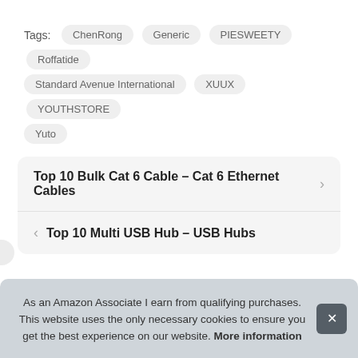Tags: ChenRong   Generic   PIESWEETY   Roffatide   Standard Avenue International   XUUX   YOUTHSTORE   Yuto
Top 10 Bulk Cat 6 Cable – Cat 6 Ethernet Cables
Top 10 Multi USB Hub – USB Hubs
As an Amazon Associate I earn from qualifying purchases. This website uses the only necessary cookies to ensure you get the best experience on our website. More information